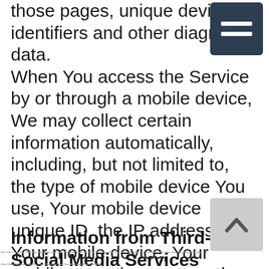those pages, unique device identifiers and other diagnostic data. When You access the Service by or through a mobile device, We may collect certain information automatically, including, but not limited to, the type of mobile device You use, Your mobile device unique ID, the IP address of Your mobile device, Your mobile operating system, the type of mobile Internet browser You use, unique device identifiers and other diagnostic data. We may also collect information that Your browser sends whenever You visit our Service or when You access the Service by or through a mobile device.
Information from Third-Party Social Media Services